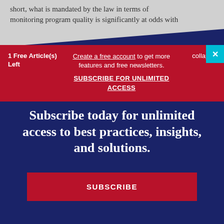short, what is mandated by the law in terms of monitoring program quality is significantly at odds with
1 Free Article(s) Left
Create a free account to get more features and free newsletters. SUBSCRIBE FOR UNLIMITED ACCESS
collapse
Subscribe today for unlimited access to best practices, insights, and solutions.
SUBSCRIBE